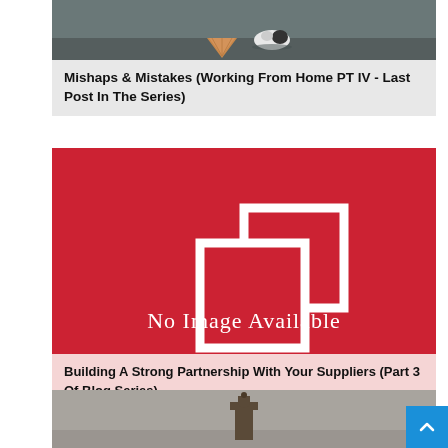[Figure (photo): Photo of a dropped ice cream cone on a dark surface, with the ice cream scoop fallen off the cone.]
Mishaps & Mistakes (Working From Home PT IV - Last Post In The Series)
[Figure (illustration): No Image Available placeholder graphic on red background with overlapping white square outlines and 'No Image Available' text.]
Building A Strong Partnership With Your Suppliers (Part 3 Of Blog Series)
[Figure (photo): Partial photo of a chess piece (appears to be a chess king or similar piece) against a grey sky background.]